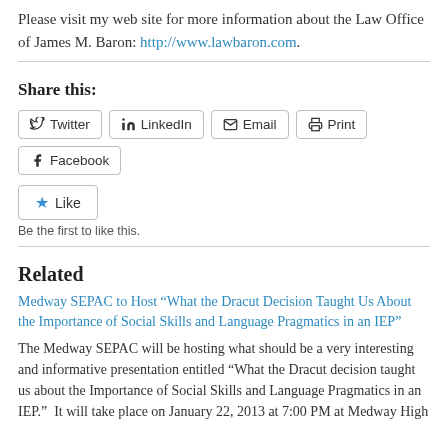Please visit my web site for more information about the Law Office of James M. Baron: http://www.lawbaron.com.
Share this:
Twitter  LinkedIn  Email  Print  Facebook
Like
Be the first to like this.
Related
Medway SEPAC to Host “What the Dracut Decision Taught Us About the Importance of Social Skills and Language Pragmatics in an IEP”
The Medway SEPAC will be hosting what should be a very interesting and informative presentation entitled “What the Dracut decision taught us about the Importance of Social Skills and Language Pragmatics in an IEP.”  It will take place on January 22, 2013 at 7:00 PM at Medway High